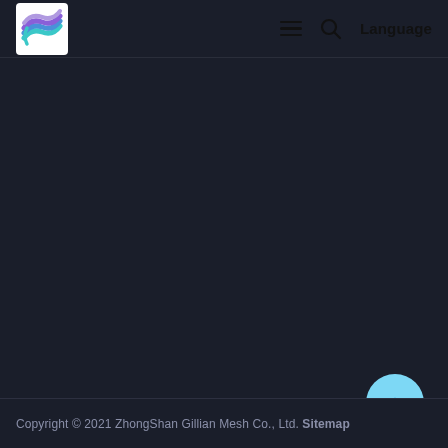[Figure (logo): ZhongShan Gillian Mesh Co. logo: colorful wave/leaf shapes in blue, purple, and teal on white background]
≡  🔍  Language
Copyright © 2021 ZhongShan Gillian Mesh Co., Ltd. Sitemap